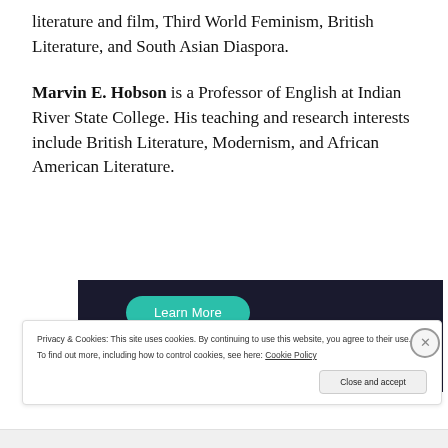literature and film, Third World Feminism, British Literature, and South Asian Diaspora.
Marvin E. Hobson is a Professor of English at Indian River State College. His teaching and research interests include British Literature, Modernism, and African American Literature.
[Figure (screenshot): Dark banner with teal 'Learn More' button and partial circular icon]
Privacy & Cookies: This site uses cookies. By continuing to use this website, you agree to their use.
To find out more, including how to control cookies, see here: Cookie Policy
Close and accept